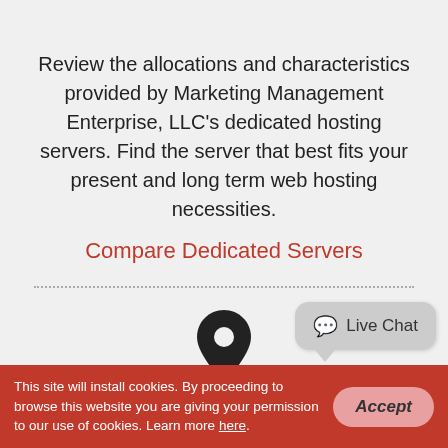Review the allocations and characteristics provided by Marketing Management Enterprise, LLC’s dedicated hosting servers. Find the server that best fits your present and long term web hosting necessities.
Compare Dedicated Servers
[Figure (other): Map pin / location icon]
Contact Us
Get in touch with us by email or via our
Live Chat
This site will install cookies. By proceeding to browse this website you are giving your permission to our use of cookies. Learn more here.